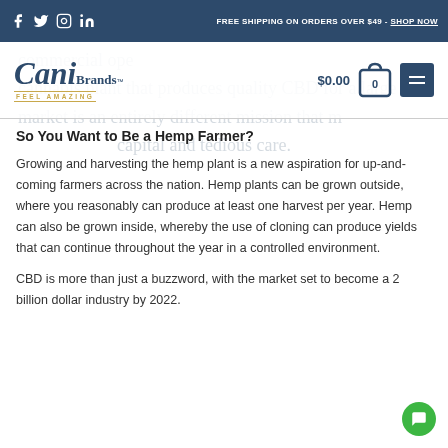FREE SHIPPING ON ORDERS OVER $49 - SHOP NOW
[Figure (logo): Cani Brands logo with tagline FEEL AMAZING]
commercial operations... cannabis plant that produces quality CBD for a large market is an entirely different mission that requires capital and tedious care.
So You Want to Be a Hemp Farmer?
Growing and harvesting the hemp plant is a new aspiration for up-and-coming farmers across the nation. Hemp plants can be grown outside, where you reasonably can produce at least one harvest per year. Hemp can also be grown inside, whereby the use of cloning can produce yields that can continue throughout the year in a controlled environment.
CBD is more than just a buzzword, with the market set to become a 2 billion dollar industry by 2022.